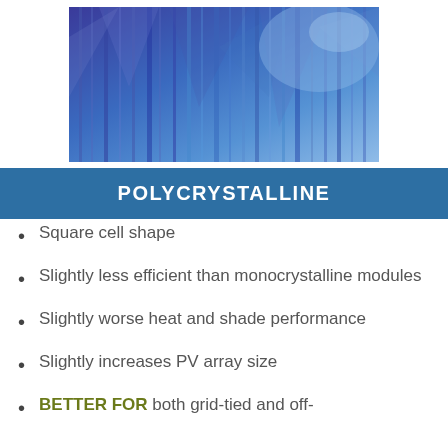[Figure (photo): Photo of polycrystalline solar panels with blue/purple tones, close-up of crystalline cell texture]
POLYCRYSTALLINE
Square cell shape
Slightly less efficient than monocrystalline modules
Slightly worse heat and shade performance
Slightly increases PV array size
BETTER FOR both grid-tied and off-